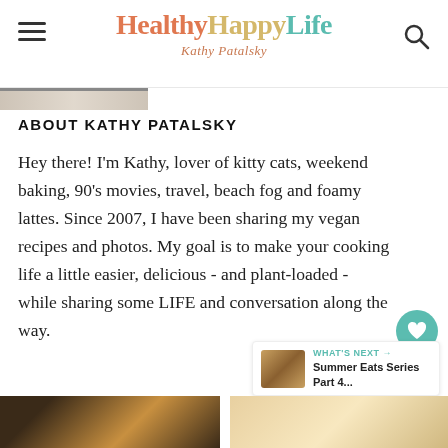HealthyHappyLife by Kathy Patalsky
ABOUT KATHY PATALSKY
Hey there! I'm Kathy, lover of kitty cats, weekend baking, 90's movies, travel, beach fog and foamy lattes. Since 2007, I have been sharing my vegan recipes and photos. My goal is to make your cooking life a little easier, delicious - and plant-loaded - while sharing some LIFE and conversation along the way.
[Figure (other): What's Next panel showing Summer Eats Series Part 4... with food thumbnail]
[Figure (photo): Food photo thumbnail bottom left - dark chocolate dish with yellow topping]
[Figure (photo): Food photo thumbnail bottom right - light colored dish]